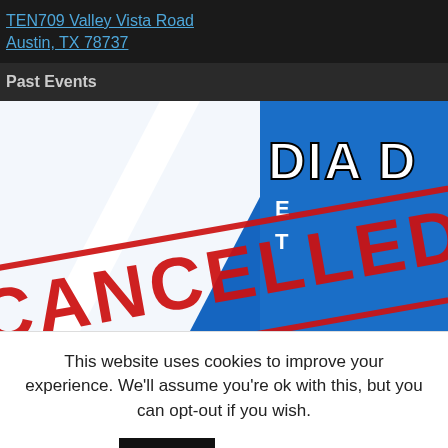TEN709 Valley Vista Road
Austin, TX 78737
Past Events
[Figure (photo): A blue and white graphic banner partially visible showing 'DIA D' text (likely 'Dia De los Muertos' event) with a large red CANCELLED stamp overlaid diagonally across it.]
This website uses cookies to improve your experience. We'll assume you're ok with this, but you can opt-out if you wish.
Accept  Read More